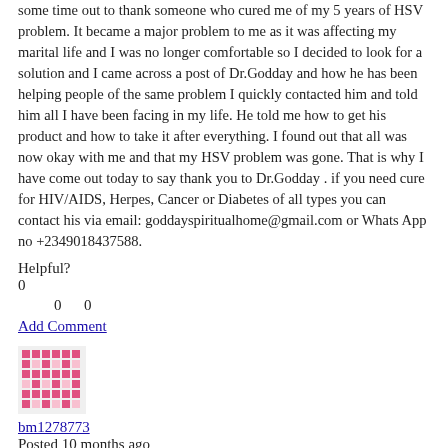some time out to thank someone who cured me of my 5 years of HSV problem. It became a major problem to me as it was affecting my marital life and I was no longer comfortable so I decided to look for a solution and I came across a post of Dr.Godday and how he has been helping people of the same problem I quickly contacted him and told him all I have been facing in my life. He told me how to get his product and how to take it after everything. I found out that all was now okay with me and that my HSV problem was gone. That is why I have come out today to say thank you to Dr.Godday . if you need cure for HIV/AIDS, Herpes, Cancer or Diabetes of all types you can contact his via email: goddayspiritualhome@gmail.com or Whats App no +2349018437588.
Helpful?
0
0      0
Add Comment
[Figure (other): User avatar - pink/red pixelated pattern avatar thumbnail]
bm1278773
Posted 10 months ago
Herbal medicine is the best solution to all manners of infectious disease, aids, cancer, and diabetes with some other...